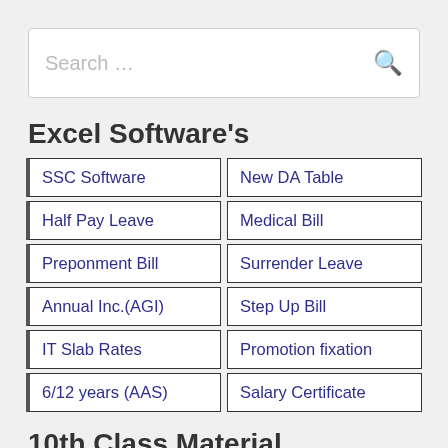[Figure (screenshot): Search bar with placeholder text 'Search ...' and a search icon on the right]
Excel Software's
SSC Software
New DA Table
Half Pay Leave
Medical Bill
Preponment Bill
Surrender Leave
Annual Inc.(AGI)
Step Up Bill
IT Slab Rates
Promotion fixation
6/12 years (AAS)
Salary Certificate
10th Class Material